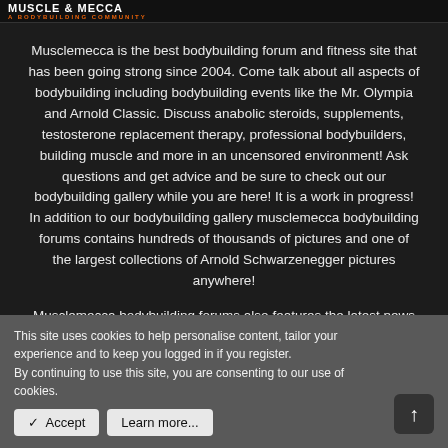MUSCLE & MECCA - A BODYBUILDING COMMUNITY
Musclemecca is the best bodybuilding forum and fitness site that has been going strong since 2004. Come talk about all aspects of bodybuilding including bodybuilding events like the Mr. Olympia and Arnold Classic. Discuss anabolic steroids, supplements, testosterone replacement therapy, professional bodybuilders, building muscle and more in an uncensored environment! Ask questions and get advice and be sure to check out our bodybuilding gallery while you are here! It is a work in progress! In addition to our bodybuilding gallery musclemecca bodybuilding forums contains hundreds of thousands of pictures and one of the largest collections of Arnold Schwarzenegger pictures anywhere!
Musclemecca bodybuilding forums also features the latest news in the world of bodybuilding.
This site uses cookies to help personalise content, tailor your experience and to keep you logged in if you register.
By continuing to use this site, you are consenting to our use of cookies.